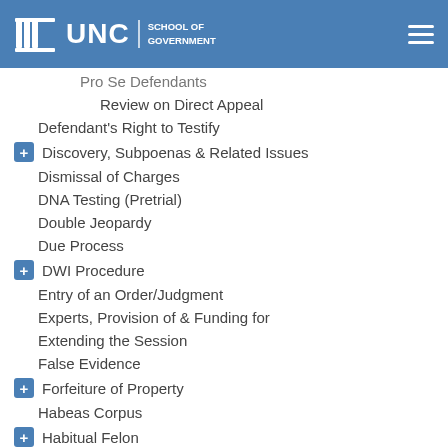UNC School of Government
Pro Se Defendants
Review on Direct Appeal
Defendant's Right to Testify
Discovery, Subpoenas & Related Issues
Dismissal of Charges
DNA Testing (Pretrial)
Double Jeopardy
Due Process
DWI Procedure
Entry of an Order/Judgment
Experts, Provision of & Funding for
Extending the Session
False Evidence
Forfeiture of Property
Habeas Corpus
Habitual Felon
Indictment & Pleading Issues
Indigonts